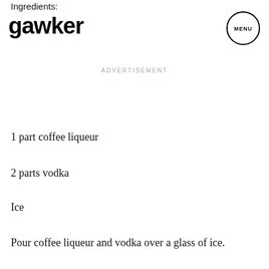Ingredients:
gawker
ADVERTISEMENT
1 part coffee liqueur
2 parts vodka
Ice
Pour coffee liqueur and vodka over a glass of ice.